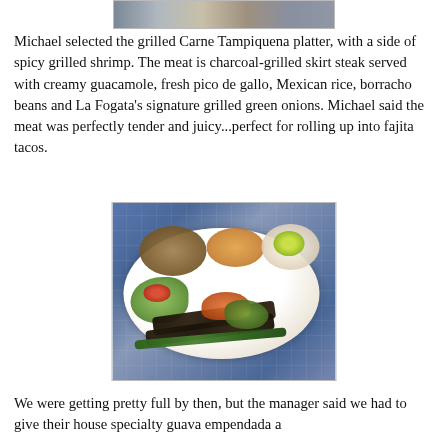[Figure (photo): Top portion of a food photo, partially cropped at top of page]
Michael selected the grilled Carne Tampiquena platter, with a side of spicy grilled shrimp. The meat is charcoal-grilled skirt steak served with creamy guacamole, fresh pico de gallo, Mexican rice, borracho beans and La Fogata's signature grilled green onions. Michael said the meat was perfectly tender and juicy...perfect for rolling up into fajita tacos.
[Figure (photo): Photo of a Carne Tampiquena platter on a white plate with borracho beans, pico de gallo with lime, charcoal-grilled skirt steak, shrimp, guacamole, grilled green onions, and lettuce, on a decorative blue and white tiled surface]
We were getting pretty full by then, but the manager said we had to give their house specialty guava empendada a try. We discovered that our server and chef's interest at